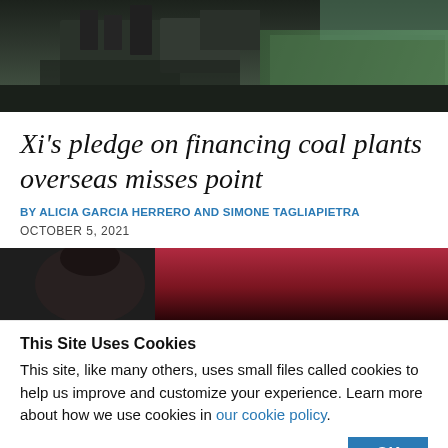[Figure (photo): Aerial or elevated photograph of an industrial facility, likely a power plant, with large structures visible and green fields in the background]
Xi's pledge on financing coal plants overseas misses point
By ALICIA GARCIA HERRERO And SIMONE TAGLIAPIETRA
OCTOBER 5, 2021
[Figure (photo): Partial photo showing a person with dark hair against a red/dark background]
This Site Uses Cookies
This site, like many others, uses small files called cookies to help us improve and customize your experience. Learn more about how we use cookies in our cookie policy.
Learn more about cookies
OK